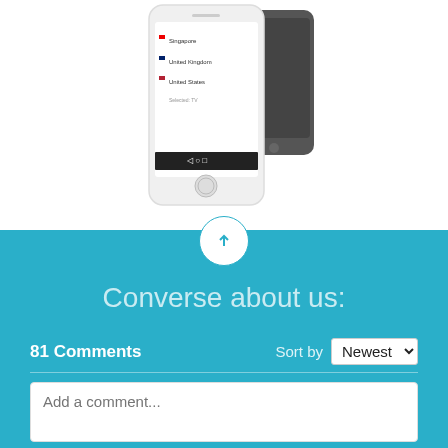[Figure (screenshot): Partial view of a smartphone showing a country list app screen with Singapore, United Kingdom, and United States entries, overlapping with a dark phone device behind it.]
Converse about us:
81 Comments
Sort by Newest
Add a comment...
Michael Pearce